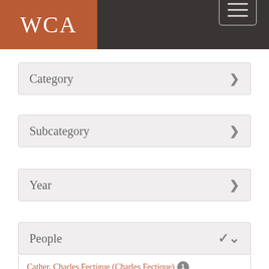WCA
Category
Subcategory
Year
People
Cather, Charles Fectigue (Charles Fectique) 1
Cather, Elsie 1 [x]
Cather, Mary Virginia Boak (Jennie) 1
Ferris, Mollie 1 [x]
Huffman, Elizabeth M. Wolfe (Lizzie) 1 [x]
Lewis, Edith 1
Mason, John Discount (J.D.)